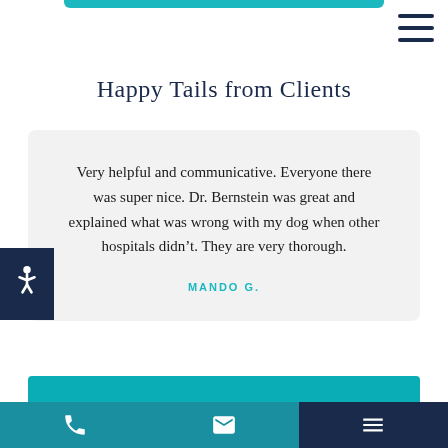Happy Tails from Clients
Very helpful and communicative. Everyone there was super nice. Dr. Bernstein was great and explained what was wrong with my dog when other hospitals didn’t. They are very thorough.
MANDO G.
Phone | Email | Menu